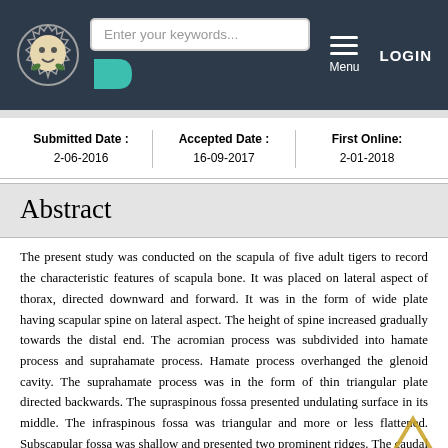Enter your keywords... | Menu | LOGIN
Submitted Date : 2-06-2016 | Accepted Date : 16-09-2017 | First Online: 2-01-2018
Abstract
The present study was conducted on the scapula of five adult tigers to record the characteristic features of scapula bone. It was placed on lateral aspect of thorax, directed downward and forward. It was in the form of wide plate having scapular spine on lateral aspect. The height of spine increased gradually towards the distal end. The acromian process was subdivided into hamate process and suprahamate process. Hamate process overhanged the glenoid cavity. The suprahamate process was in the form of thin triangular plate directed backwards. The supraspinous fossa presented undulating surface in its middle. The infraspinous fossa was triangular and more or less flattened. Subscapular fossa was shallow and presented two prominent ridges. The caudal angle of the scapula was terminated in to glenoid cavity